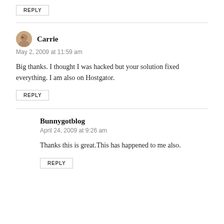REPLY
Carrie
May 2, 2009 at 11:59 am
Big thanks. I thought I was hacked but your solution fixed everything. I am also on Hostgator.
REPLY
Bunnygotblog
April 24, 2009 at 9:26 am
Thanks this is great.This has happened to me also.
REPLY